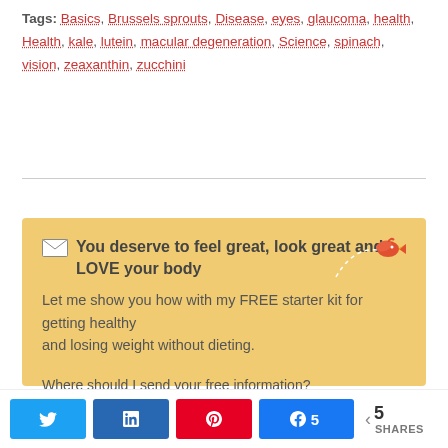Tags: Basics, Brussels sprouts, Disease, eyes, glaucoma, health, Health, kale, lutein, macular degeneration, Science, spinach, vision, zeaxanthin, zucchini
You deserve to feel great, look great and LOVE your body
Let me show you how with my FREE starter kit for getting healthy
and losing weight without dieting.

Where should I send your free information?

Name
5 SHARES